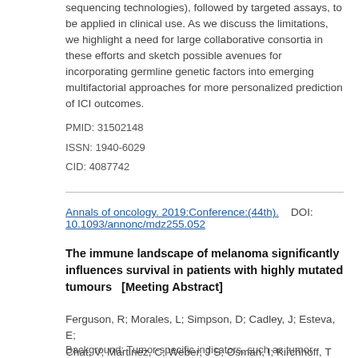sequencing technologies), followed by targeted assays, to be applied in clinical use. As we discuss the limitations, we highlight a need for large collaborative consortia in these efforts and sketch possible avenues for incorporating germline genetic factors into emerging multifactorial approaches for more personalized prediction of ICI outcomes.
PMID: 31502148
ISSN: 1940-6029
CID: 4087742
Annals of oncology. 2019:Conference:(44th).   DOI: 10.1093/annonc/mdz255.052
The immune landscape of melanoma significantly influences survival in patients with highly mutated tumours   [Meeting Abstract]
Ferguson, R; Morales, L; Simpson, D; Cadley, J; Esteva, E; Chat, V; Martinez, C; Weber, J S; Osman, I; Kirchhoff, T
Background: Tumor-specific indicators, such as tumor mutation burden (TMB) have been shown to affect overall survival (OS) in melanoma. Recently, pan-cancer analyses from The Cancer...